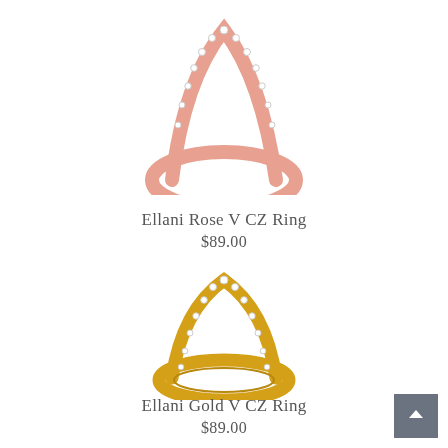[Figure (photo): Rose gold V-shaped CZ ring, partially cropped at top of page, viewed from above showing pavé cubic zirconia stones along the curved band]
Ellani Rose V CZ Ring
$89.00
[Figure (photo): Yellow gold V-shaped CZ ring with pavé cubic zirconia stones set along the curved arc of the band, full ring visible on white background]
Ellani Gold V CZ Ring
$89.00